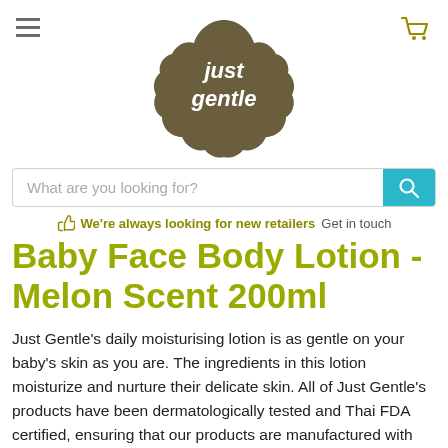just gentle logo, hamburger menu, cart icon
What are you looking for?
We're always looking for new retailers  Get in touch
Baby Face Body Lotion - Melon Scent 200ml
Just Gentle's daily moisturising lotion is as gentle on your baby's skin as you are. The ingredients in this lotion moisturize and nurture their delicate skin. All of Just Gentle's products have been dermatologically tested and Thai FDA certified, ensuring that our products are manufactured with high-quality ingredients. In reality, Ecocert, France, has verified the organic